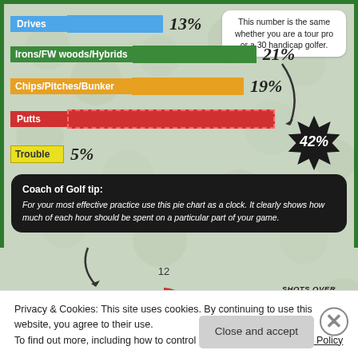[Figure (bar-chart): Golf shot breakdown by percentage]
This number is the same whether you are a tour pro or a 30 handicap golfer.
Coach of Golf tip: For your most effective practice use this pie chart as a clock. It clearly shows how much of each hour should be spent on a particular part of your game.
[Figure (other): Partial clock/pie chart showing shots distribution, with numbers 11, 12, 1 visible. Red and blue sections visible.]
SHOTS OVER 100 YARDS
Privacy & Cookies: This site uses cookies. By continuing to use this website, you agree to their use.
To find out more, including how to control cookies, see here: Cookie Policy
Close and accept